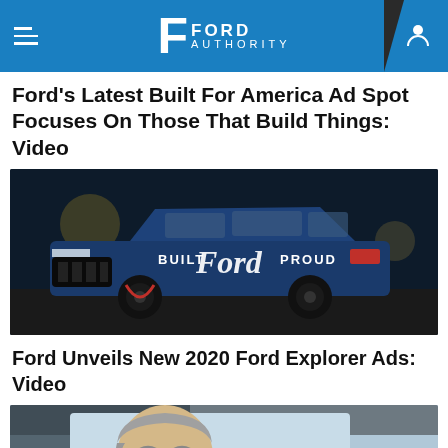Ford Authority
Ford's Latest Built For America Ad Spot Focuses On Those That Build Things: Video
[Figure (photo): A dark blue Ford Explorer SUV at night with 'BUILT Ford PROUD' text overlay on the vehicle]
Ford Unveils New 2020 Ford Explorer Ads: Video
[Figure (photo): Close-up of an older man with grey hair smiling while sitting in a car, driver's seat view]